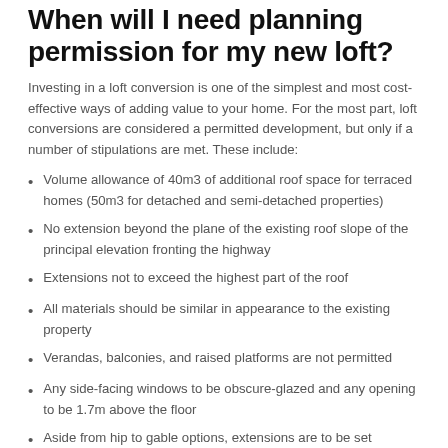When will I need planning permission for my new loft?
Investing in a loft conversion is one of the simplest and most cost-effective ways of adding value to your home. For the most part, loft conversions are considered a permitted development, but only if a number of stipulations are met. These include:
Volume allowance of 40m3 of additional roof space for terraced homes (50m3 for detached and semi-detached properties)
No extension beyond the plane of the existing roof slope of the principal elevation fronting the highway
Extensions not to exceed the highest part of the roof
All materials should be similar in appearance to the existing property
Verandas, balconies, and raised platforms are not permitted
Any side-facing windows to be obscure-glazed and any opening to be 1.7m above the floor
Aside from hip to gable options, extensions are to be set